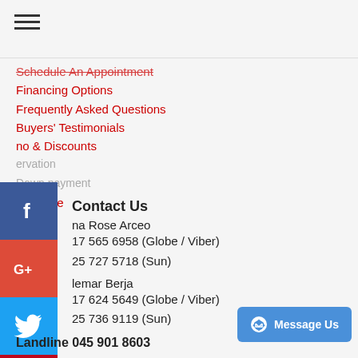[Figure (other): Hamburger menu icon (three horizontal lines)]
Schedule An Appointment
Financing Options
Frequently Asked Questions
Buyers' Testimonials
no & Discounts
ervation
Down payment
r's Guide
Contact Us
na Rose Arceo
17 565 6958 (Globe / Viber)
25 727 5718 (Sun)
lemar Berja
17 624 5649 (Globe / Viber)
25 736 9119 (Sun)
Landline 045 901 8603
[Figure (other): Social media icons: Facebook, Google+, Twitter, Pinterest, YouTube on left side]
[Figure (other): Message Us button with Messenger icon]